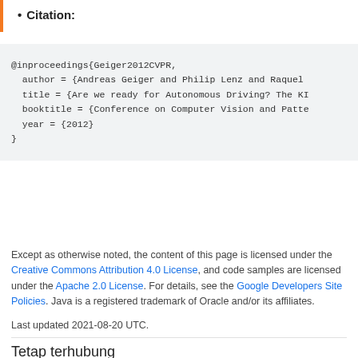Citation:
@inproceedings{Geiger2012CVPR,
  author = {Andreas Geiger and Philip Lenz and Raquel
  title = {Are we ready for Autonomous Driving? The KI
  booktitle = {Conference on Computer Vision and Patte
  year = {2012}
}
Except as otherwise noted, the content of this page is licensed under the Creative Commons Attribution 4.0 License, and code samples are licensed under the Apache 2.0 License. For details, see the Google Developers Site Policies. Java is a registered trademark of Oracle and/or its affiliates.
Last updated 2021-08-20 UTC.
Tetap terhubung